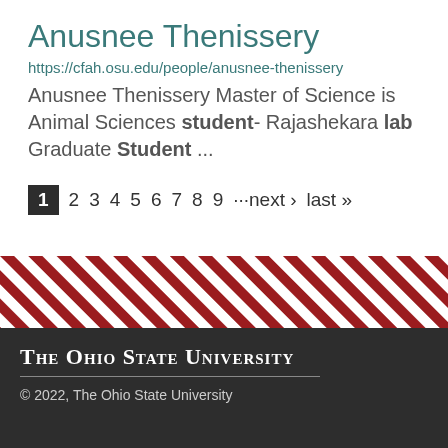Anusnee Thenissery
https://cfah.osu.edu/people/anusnee-thenissery
Anusnee Thenissery Master of Science is Animal Sciences student- Rajashekara lab Graduate Student ...
1  2  3  4  5  6  7  8  9  ···next › last »
[Figure (illustration): Diagonal red and white stripe decorative band, OSU branding footer]
THE OHIO STATE UNIVERSITY
© 2022, The Ohio State University